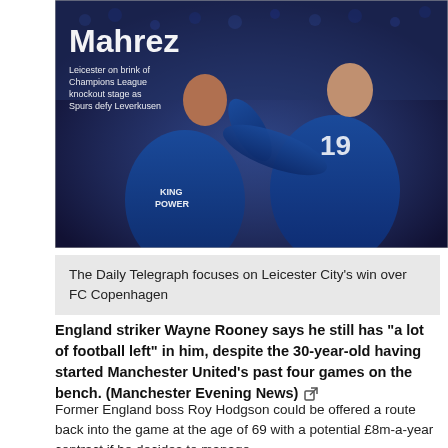[Figure (photo): Leicester City players in blue King Power jerseys celebrating, with 'Mahrez' text overlay and caption 'Leicester on brink of Champions League knockout stage as Spurs defy Leverkusen'. Players embracing on football pitch.]
The Daily Telegraph focuses on Leicester City's win over FC Copenhagen
England striker Wayne Rooney says he still has "a lot of football left" in him, despite the 30-year-old having started Manchester United's past four games on the bench. (Manchester Evening News)
Former England boss Roy Hodgson could be offered a route back into the game at the age of 69 with a potential £8m-a-year contract if he decides to manage the Chinese Super League. (Daily Mirror)